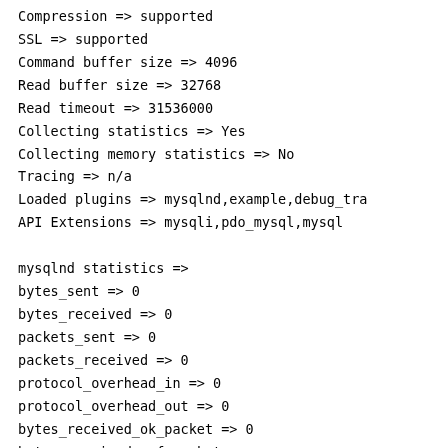Compression => supported
SSL => supported
Command buffer size => 4096
Read buffer size => 32768
Read timeout => 31536000
Collecting statistics => Yes
Collecting memory statistics => No
Tracing => n/a
Loaded plugins => mysqlnd,example,debug_tra
API Extensions => mysqli,pdo_mysql,mysql
mysqlnd statistics =>
bytes_sent => 0
bytes_received => 0
packets_sent => 0
packets_received => 0
protocol_overhead_in => 0
protocol_overhead_out => 0
bytes_received_ok_packet => 0
bytes_received_eof_packet => 0